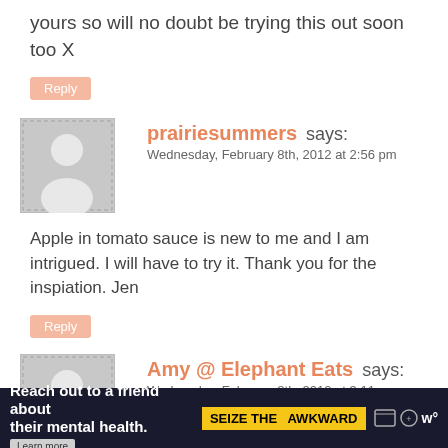yours so will no doubt be trying this out soon too X
Reply
prairiesummers says:
Wednesday, February 8th, 2012 at 2:56 pm
Apple in tomato sauce is new to me and I am intrigued. I will have to try it. Thank you for the inspiation. Jen
Reply
Amy @ Elephant Eats says:
Wednesday, February 8th, 2012 at 3:11 pm
I'm kinda diggin the apple in the
Reach out to a friend about their mental health. Learn more SEIZE THE AWKWARD